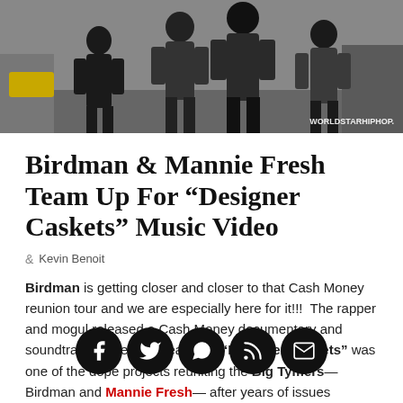[Figure (photo): Group of people walking outdoors, street scene, with WORLDSTARHIPHOP watermark in bottom right]
Birdman & Mannie Fresh Team Up For “Designer Caskets” Music Video
Kevin Benoit
Birdman is getting closer and closer to that Cash Money reunion tour and we are especially here for it!!!  The rapper and mogul released a Cash Money documentary and soundtrack earlier this year. And “Designer Caskets” was one of the dope projects reuniting the Big Tymers—Birdman and Mannie Fresh—after years of issues between the pair stemming from